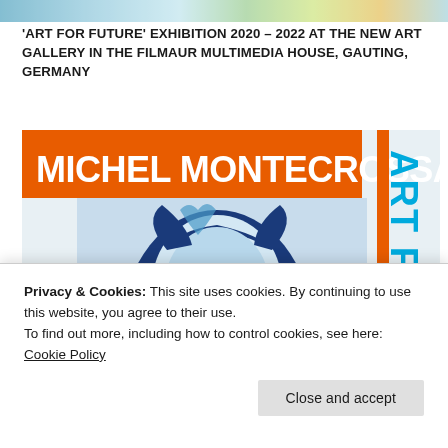[Figure (photo): Top decorative banner strip with colorful abstract/nature imagery]
'ART FOR FUTURE' EXHIBITION 2020 – 2022 AT THE NEW ART GALLERY IN THE FILMAUR MULTIMEDIA HOUSE, GAUTING, GERMANY
[Figure (photo): Exhibition poster for Michel Montecrossa 'Art For Future' – shows a painted blue-and-white stylized portrait of a woman wearing glasses with arms raised, with orange banner reading MICHEL MONTECROSSA and vertical text ART FO... on right side, and partial word UNGEN on left side]
Privacy & Cookies: This site uses cookies. By continuing to use this website, you agree to their use.
To find out more, including how to control cookies, see here: Cookie Policy
Close and accept